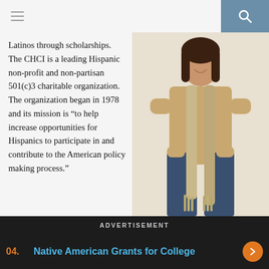Navigation bar with hamburger menu and search button
Latinos through scholarships. The CHCI is a leading Hispanic non-profit and non-partisan 501(c)3 charitable organization. The organization began in 1978 and its mission is “to help increase opportunities for Hispanics to participate in and contribute to the American policy making process.”
[Figure (photo): Young woman wearing a tan top, knit scarf, and jeans, shown from shoulders down with hands in pockets, standing against a white background.]
ADVERTISEMENT
04. Native American Grants for College